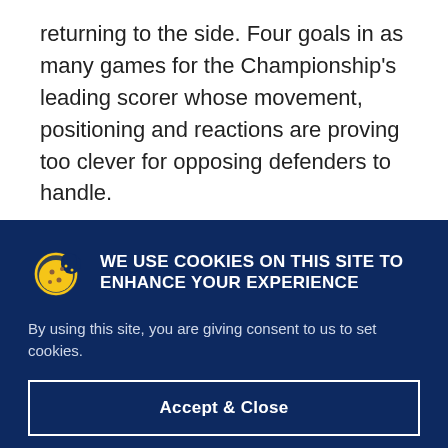returning to the side. Four goals in as many games for the Championship's leading scorer whose movement, positioning and reactions are proving too clever for opposing defenders to handle.
Teemu Pukki (Norwich City) - striker
WE USE COOKIES ON THIS SITE TO ENHANCE YOUR EXPERIENCE
By using this site, you are giving consent to us to set cookies.
Accept & Close